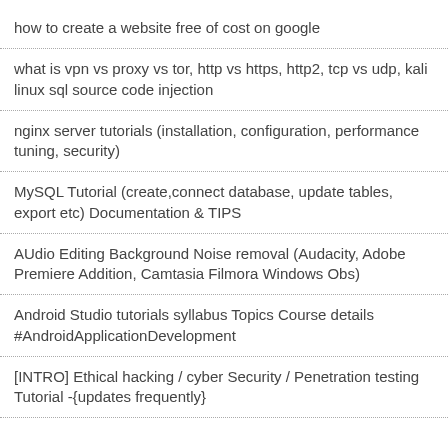how to create a website free of cost on google
what is vpn vs proxy vs tor, http vs https, http2, tcp vs udp, kali linux sql source code injection
nginx server tutorials (installation, configuration, performance tuning, security)
MySQL Tutorial (create,connect database, update tables, export etc) Documentation & TIPS
AUdio Editing Background Noise removal (Audacity, Adobe Premiere Addition, Camtasia Filmora Windows Obs)
Android Studio tutorials syllabus Topics Course details #AndroidApplicationDevelopment
[INTRO] Ethical hacking / cyber Security / Penetration testing Tutorial -{updates frequently}